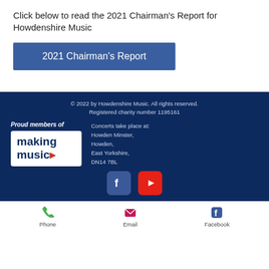Click below to read the 2021 Chairman's Report for Howdenshire Music
[Figure (other): Blue button labeled '2021 Chairman's Report']
© 2022 by Howdenshire Music. All rights reserved.
Registered charity number 1195161
Proud members of making music
Concerts take place at: Howden Minster, Howden, East Yorkshire, DN14 7BL
Facebook and YouTube social icons
Phone  Email  Facebook